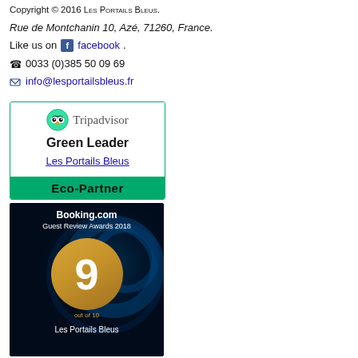Copyright © 2016 LES PORTAILS BLEUS.
Rue de Montchanin 10, Azé, 71260, France.
Like us on facebook.
0033 (0)385 50 09 69
info@lesportailsbleus.fr
[Figure (other): TripAdvisor Green Leader / Eco-Partner badge for Les Portails Bleus]
[Figure (other): Booking.com Guest Review Awards 2018 badge showing score 9 out of 10 for Les Portails Bleus]